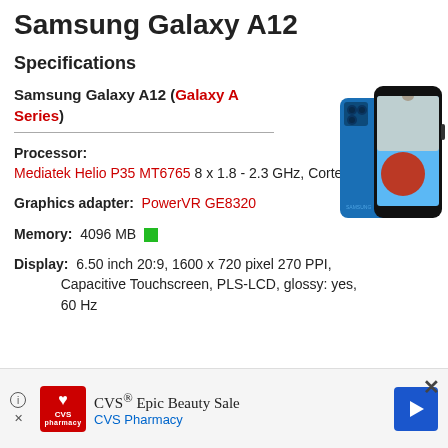Samsung Galaxy A12
Specifications
Samsung Galaxy A12 (Galaxy A Series)
[Figure (photo): Samsung Galaxy A12 smartphone in blue color, showing front and back view]
Processor: Mediatek Helio P35 MT6765 8 x 1.8 - 2.3 GHz, Cortex-A53
Graphics adapter: PowerVR GE8320
Memory: 4096 MB
Display: 6.50 inch 20:9, 1600 x 720 pixel 270 PPI, Capacitive Touchscreen, PLS-LCD, glossy: yes, 60 Hz
CVS® Epic Beauty Sale CVS Pharmacy